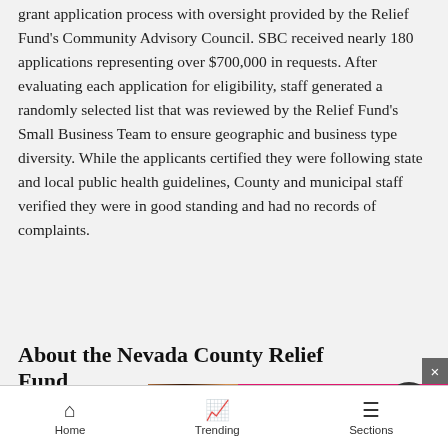grant application process with oversight provided by the Relief Fund's Community Advisory Council. SBC received nearly 180 applications representing over $700,000 in requests. After evaluating each application for eligibility, staff generated a randomly selected list that was reviewed by the Relief Fund's Small Business Team to ensure geographic and business type diversity. While the applicants certified they were following state and local public health guidelines, County and municipal staff verified they were in good standing and had no records of complaints.
About the Nevada County Relief Fund
The Ne...ough a
[Figure (screenshot): Victoria's Secret advertisement overlay with model photo, VS logo, 'SHOP THE COLLECTION' text, and 'SHOP NOW' button on pink background]
Home  Trending  Sections